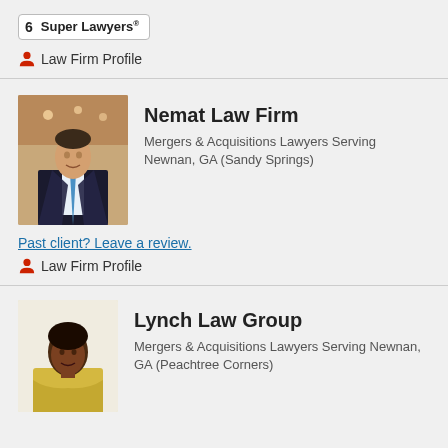6 Super Lawyers®
Law Firm Profile
[Figure (photo): Professional photo of a man in a dark suit and blue tie, standing in a modern office lobby with warm wood ceiling]
Nemat Law Firm
Mergers & Acquisitions Lawyers Serving Newnan, GA (Sandy Springs)
Past client? Leave a review.
Law Firm Profile
[Figure (photo): Professional photo of a woman in a yellow outfit with arms crossed, light background]
Lynch Law Group
Mergers & Acquisitions Lawyers Serving Newnan, GA (Peachtree Corners)